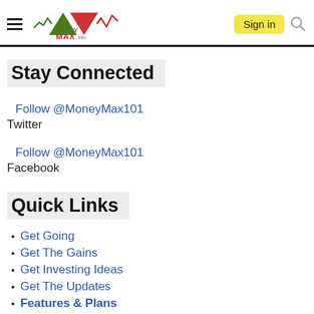MoneyMax — Sign in
Stay Connected
Follow @MoneyMax101
Twitter
Follow @MoneyMax101
Facebook
Quick Links
Get Going
Get The Gains
Get Investing Ideas
Get The Updates
Features & Plans